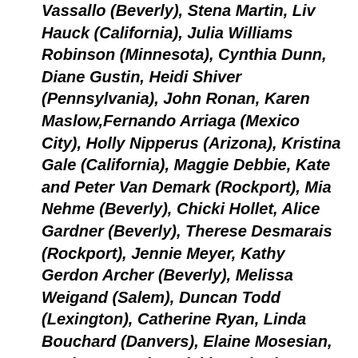Vassallo (Beverly), Stena Martin, Liv Hauck (California), Julia Williams Robinson (Minnesota), Cynthia Dunn, Diane Gustin, Heidi Shiver (Pennsylvania), John Ronan, Karen Maslow,Fernando Arriaga (Mexico City), Holly Nipperus (Arizona), Kristina Gale (California), Maggie Debbie, Kate and Peter Van Demark (Rockport), Mia Nehme (Beverly), Chicki Hollet, Alice Gardner (Beverly), Therese Desmarais (Rockport), Jennie Meyer, Kathy Gerdon Archer (Beverly), Melissa Weigand (Salem), Duncan Todd (Lexington), Catherine Ryan, Linda Bouchard (Danvers), Elaine Mosesian, Paul Wegzyn (Ipswich), Catherine Bayliss, Jan Waldman (Swampscott), and Alessandra Borges (Woonsocket RI).